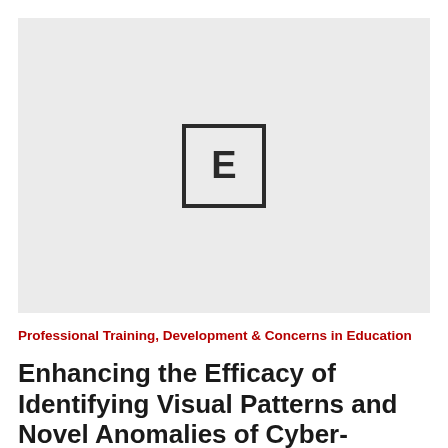[Figure (other): Light gray rectangular placeholder image with a square icon containing the letter E in the center]
Professional Training, Development & Concerns in Education
Enhancing the Efficacy of Identifying Visual Patterns and Novel Anomalies of Cyber-Defenders With 3D Immersive VR